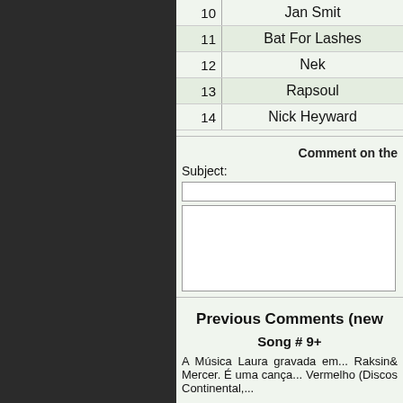| # | Artist |
| --- | --- |
| 10 | Jan Smit |
| 11 | Bat For Lashes |
| 12 | Nek |
| 13 | Rapsoul |
| 14 | Nick Heyward |
Comment on the
Subject:
(text input field)
(textarea field)
Previous Comments (newe...
Song # 9+
A Música Laura gravada em... Raksin& Mercer. É uma cança... Vermelho (Discos Continental,...
© 2007-2022, Steve Hawtin et al. Generated 24 Jul 202... acknowledged, second a link to the tsort.info site is pr... 2.8.0046). If you cannot, or do not wish to, follow th...